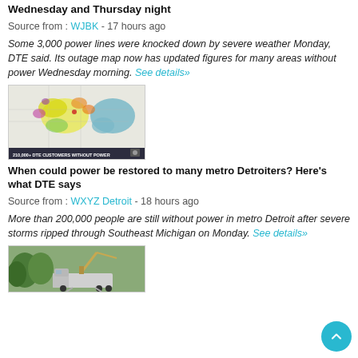Wednesday and Thursday night
Source from : WJBK - 17 hours ago
Some 3,000 power lines were knocked down by severe weather Monday, DTE said. Its outage map now has updated figures for many areas without power Wednesday morning. See details»
[Figure (map): Map showing DTE outage areas with colored regions; banner reads '210,000+ DTE CUSTOMERS WITHOUT POWER']
When could power be restored to many metro Detroiters? Here's what DTE says
Source from : WXYZ Detroit - 18 hours ago
More than 200,000 people are still without power in metro Detroit after severe storms ripped through Southeast Michigan on Monday. See details»
[Figure (photo): Utility truck with crane arm, appears related to power restoration work]